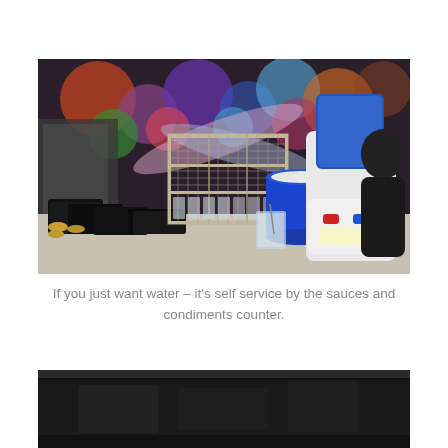[Figure (photo): A condiment and water station counter showing a white water cooler dispenser with blue reservoir, a blue beverage cooler, a white wire rack unit holding glass cups/containers, black serving trays, small metallic cups, and a glass with a spoon. Colorful circular decorations are visible in the background.]
If you just want water – it's self service by the sauces and condiments counter.
[Figure (photo): Partial view of a dark surface, likely a restaurant table or counter, cropped at the bottom of the page.]